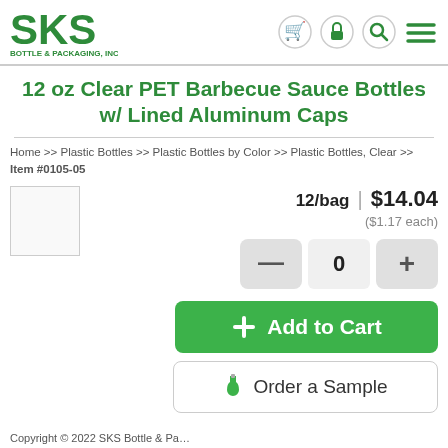SKS Bottle & Packaging, Inc. — navigation header with cart, lock, search, and menu icons
12 oz Clear PET Barbecue Sauce Bottles w/ Lined Aluminum Caps
Home >> Plastic Bottles >> Plastic Bottles by Color >> Plastic Bottles, Clear >> Item #0105-05
12/bag | $14.04
($1.17 each)
- 0 + (quantity selector)
+ Add to Cart
Order a Sample
Copyright © 2022 SKS Bottle & Pa...